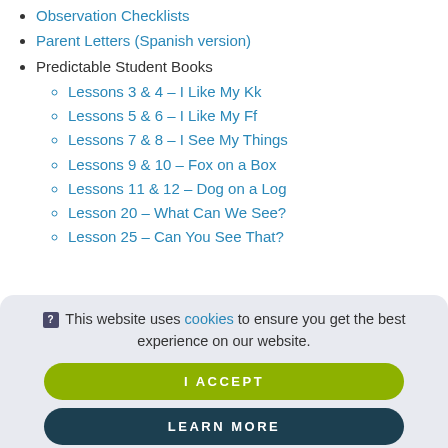Observation Checklists
Parent Letters (Spanish version)
Predictable Student Books
Lessons 3 & 4 – I Like My Kk
Lessons 5 & 6 – I Like My Ff
Lessons 7 & 8 – I See My Things
Lessons 9 & 10 – Fox on a Box
Lessons 11 & 12 – Dog on a Log
Lesson 20 – What Can We See?
Lesson 25 – Can You See That?
This website uses cookies to ensure you get the best experience on our website.